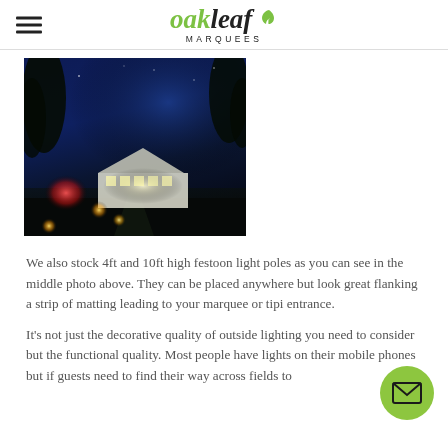oakleaf MARQUEES
[Figure (photo): Night-time photograph of an illuminated marquee tent in a dark garden setting, with warm lantern lights along a path and trees silhouetted against a blue-black sky.]
We also stock 4ft and 10ft high festoon light poles as you can see in the middle photo above. They can be placed anywhere but look great flanking a strip of matting leading to your marquee or tipi entrance.
It's not just the decorative quality of outside lighting you need to consider but the functional quality. Most people have lights on their mobile phones but if guests need to find their way across fields to